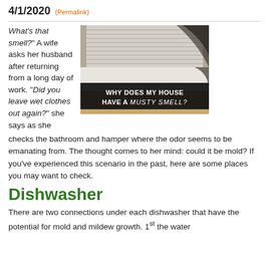4/1/2020 (Permalink)
What's that smell?" A wife asks her husband after returning from a long day of work. "Did you leave wet clothes out again?" she says as she checks the bathroom and hamper where the odor seems to be emanating from. The thought comes to her mind: could it be mold? If you've experienced this scenario in the past, here are some places you may want to check.
[Figure (photo): Photo of mold growing in a corner near window blinds with text overlay reading WHY DOES MY HOUSE HAVE A MUSTY SMELL?]
Dishwasher
There are two connections under each dishwasher that have the potential for mold and mildew growth. 1st the water